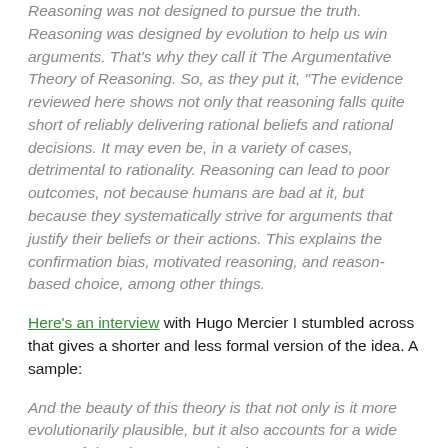Reasoning was not designed to pursue the truth. Reasoning was designed by evolution to help us win arguments. That's why they call it The Argumentative Theory of Reasoning. So, as they put it, "The evidence reviewed here shows not only that reasoning falls quite short of reliably delivering rational beliefs and rational decisions. It may even be, in a variety of cases, detrimental to rationality. Reasoning can lead to poor outcomes, not because humans are bad at it, but because they systematically strive for arguments that justify their beliefs or their actions. This explains the confirmation bias, motivated reasoning, and reason-based choice, among other things.
Here's an interview with Hugo Mercier I stumbled across that gives a shorter and less formal version of the idea. A sample:
And the beauty of this theory is that not only is it more evolutionarily plausible, but it also accounts for a wide range of data that was previously...